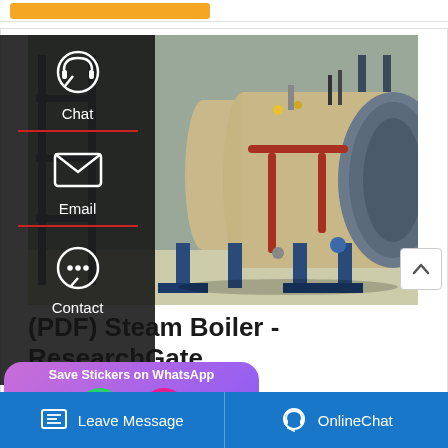[Figure (photo): Industrial steam boiler — large horizontal cylindrical vessel in beige/tan color, mounted on blue steel supports inside an industrial facility. Red piping and blue valves visible, structural steel scaffolding in background.]
(PDF) Steam Boiler - ResearchGate
2. Steam Boiler. A steam boiler is a closed vessel, generally ... ter is heated by. some source of heat
[Figure (screenshot): WhatsApp sticker save popup with purple gradient background, showing phone and emoji icons]
Leave Message   OnlineChat